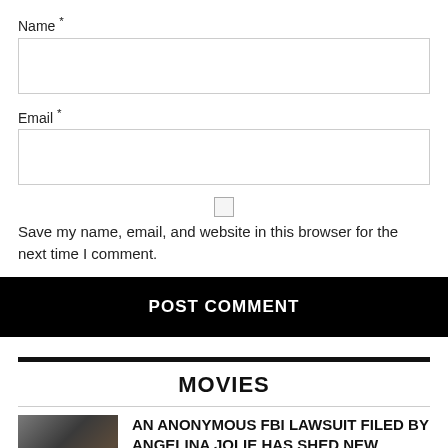Name *
Email *
Save my name, email, and website in this browser for the next time I comment.
POST COMMENT
MOVIES
AN ANONYMOUS FBI LAWSUIT FILED BY ANGELINA JOLIE HAS SHED NEW